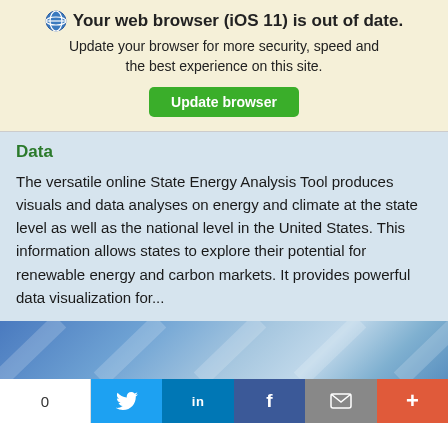Your web browser (iOS 11) is out of date. Update your browser for more security, speed and the best experience on this site. Update browser
Data
The versatile online State Energy Analysis Tool produces visuals and data analyses on energy and climate at the state level as well as the national level in the United States. This information allows states to explore their potential for renewable energy and carbon markets. It provides powerful data visualization for...
[Figure (screenshot): Partial preview of a webpage or image with blue diagonal stripe pattern]
0  [Twitter share] [LinkedIn share] [Facebook share] [Email share] [More share options]